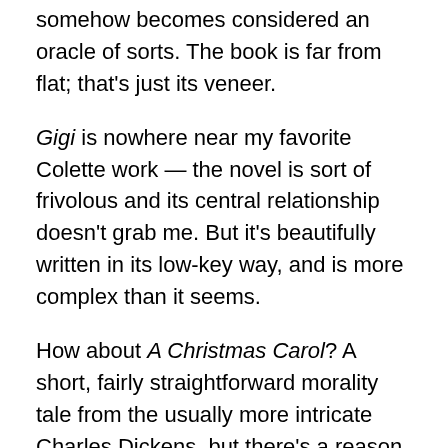somehow becomes considered an oracle of sorts. The book is far from flat; that's just its veneer.
Gigi is nowhere near my favorite Colette work — the novel is sort of frivolous and its central relationship doesn't grab me. But it's beautifully written in its low-key way, and is more complex than it seems.
How about A Christmas Carol? A short, fairly straightforward morality tale from the usually more intricate Charles Dickens, but there's a reason why it has endured for more than 175 years: It skillfully depicts many recognizable human (and ghostly 🙂 ) traits.
And The Remains of the Day. Kazuo Ishiguro's story of a butler is extremely understated, but strong emotions and secrets boil under the surface.